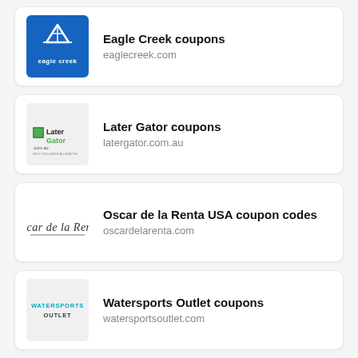[Figure (logo): Eagle Creek logo: blue square with white tent/mountain icon and 'eagle creek' text]
Eagle Creek coupons
eaglecreek.com
[Figure (logo): Later Gator logo: green and black text 'LaterGator.com.au' on light background]
Later Gator coupons
latergator.com.au
[Figure (logo): Oscar de la Renta signature logo in cursive script]
Oscar de la Renta USA coupon codes
oscardelarenta.com
[Figure (logo): Watersports Outlet logo: teal/cyan text 'WATERSPORTS OUTLET' on light background]
Watersports Outlet coupons
watersportsoutlet.com